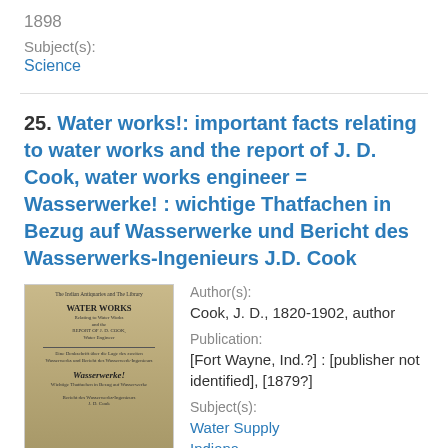1898
Subject(s):
Science
25. Water works!: important facts relating to water works and the report of J. D. Cook, water works engineer = Wasserwerke! : wichtige Thatfachen in Bezug auf Wasserwerke und Bericht des Wasserwerks-Ingenieurs J.D. Cook
[Figure (photo): Book cover thumbnail showing 'Water Works' title with German subtitle 'Wasserwerke!']
Author(s):
Cook, J. D., 1820-1902, author
Publication:
[Fort Wayne, Ind.?] : [publisher not identified], [1879?]
Subject(s):
Water Supply
Indiana